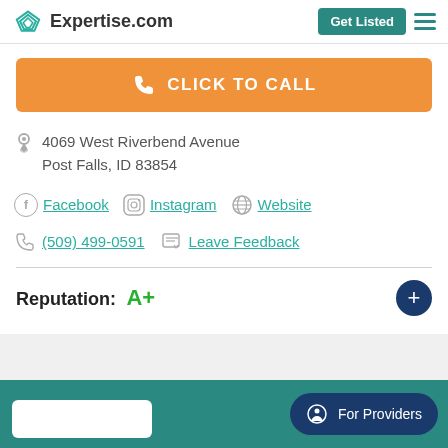Expertise.com — Get Listed
[Figure (screenshot): Orange CLICK TO CALL button with phone icon]
4069 West Riverbend Avenue
Post Falls, ID 83854
Facebook   Instagram   Website
(509) 499-0591   Leave Feedback
Reputation:  A+
For Providers